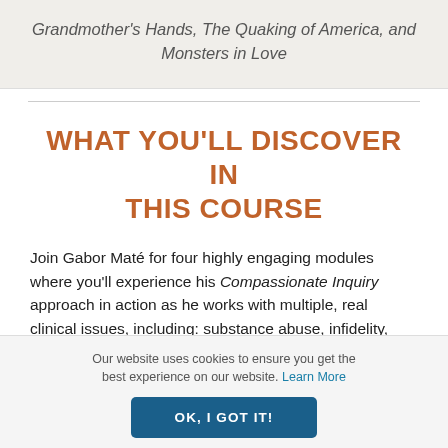Grandmother's Hands, The Quaking of America, and Monsters in Love
WHAT YOU'LL DISCOVER IN THIS COURSE
Join Gabor Maté for four highly engaging modules where you'll experience his Compassionate Inquiry approach in action as he works with multiple, real clinical issues, including: substance abuse, infidelity,
Our website uses cookies to ensure you get the best experience on our website. Learn More
OK, I GOT IT!